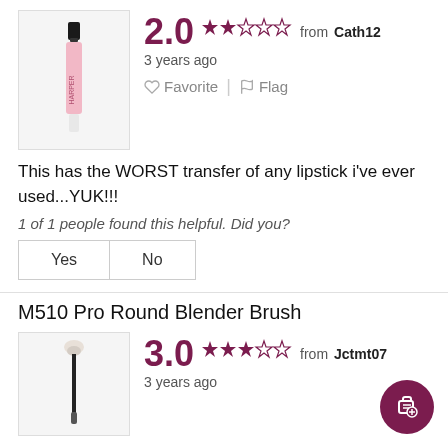[Figure (photo): Product photo of a lipstick/lip gloss item with pink packaging]
2.0  from  Cath12
3 years ago
Favorite  Flag
This has the WORST transfer of any lipstick i've ever used...YUK!!!
1 of 1 people found this helpful. Did you?
Yes   No
M510 Pro Round Blender Brush
[Figure (photo): Product photo of a Pro Round Blender Brush with thin black handle]
3.0  from  Jctmt07
3 years ago